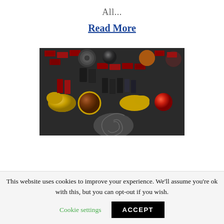All...
Read More
[Figure (photo): A close-up photograph of a colorful assortment of antique or decorative buttons and beads, including red rectangular pieces, gold animal figurines, dark metallic buttons, brown round beads, and various other mixed decorative items arranged in a fan-like display.]
This website uses cookies to improve your experience. We'll assume you're ok with this, but you can opt-out if you wish.
Cookie settings
ACCEPT